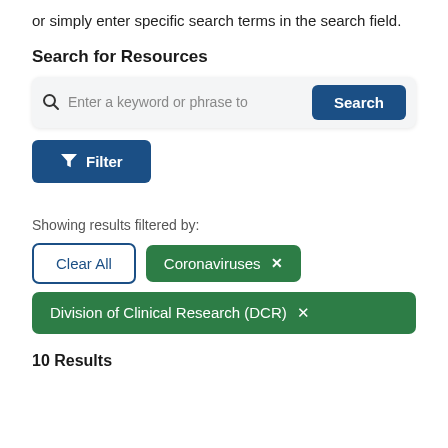or simply enter specific search terms in the search field.
Search for Resources
[Figure (screenshot): Search bar with magnifying glass icon, placeholder text 'Enter a keyword or phrase to', and a dark blue 'Search' button on the right.]
[Figure (screenshot): Dark blue 'Filter' button with a funnel/filter icon on the left.]
Showing results filtered by:
[Figure (screenshot): Filter tag row: 'Clear All' button with blue border, and a green 'Coronaviruses x' tag.]
[Figure (screenshot): Green filter tag: 'Division of Clinical Research (DCR) x']
10 Results